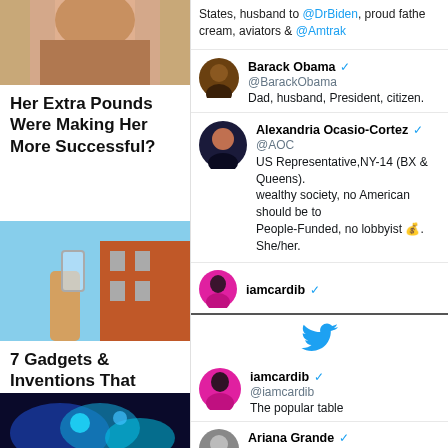[Figure (photo): Cropped photo of a person, appears to be a woman, top portion cut off]
Her Extra Pounds Were Making Her More Successful?
[Figure (photo): Person holding a transparent glass-like device in front of a brick building]
7 Gadgets & Inventions That Could Save Our Planet
[Figure (photo): Blue glowing tech/science imagery at bottom left]
States, husband to @DrBiden, proud fath... cream, aviators & @Amtrak
Barack Obama @BarackObama — Dad, husband, President, citizen.
Alexandria Ocasio-Cortez @AOC — US Representative,NY-14 (BX & Queens). wealthy society, no American should be to... People-Funded, no lobbyist. She/her.
iamcardib @iamcardib
[Figure (logo): Twitter bird logo in blue]
iamcardib @iamcardib — The popular table
Ariana Grande @ArianaGrande
Chuck Todd @chucktodd — Moderator of @meetthepress and @nbc...